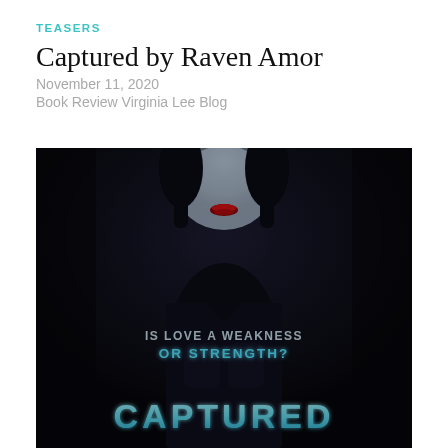TEASERS
Captured by Raven Amor
November 11, 2020
Book Review Virginia Lee Blog
[Figure (photo): Dark book cover for 'Captured' showing a woman with red lips and dark hair against a dark background, with text 'IS LOVE A WEAKNESS OR STRENGTH?' and 'CAPTURED' at the bottom in glowing teal letters.]